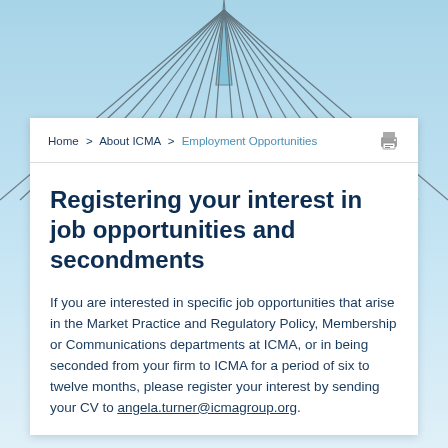[Figure (photo): Abstract architectural background with blue and white radiating lines resembling cables or structural beams converging upward]
Home > About ICMA > Employment Opportunities
Registering your interest in job opportunities and secondments
If you are interested in specific job opportunities that arise in the Market Practice and Regulatory Policy, Membership or Communications departments at ICMA, or in being seconded from your firm to ICMA for a period of six to twelve months, please register your interest by sending your CV to angela.turner@icmagroup.org.